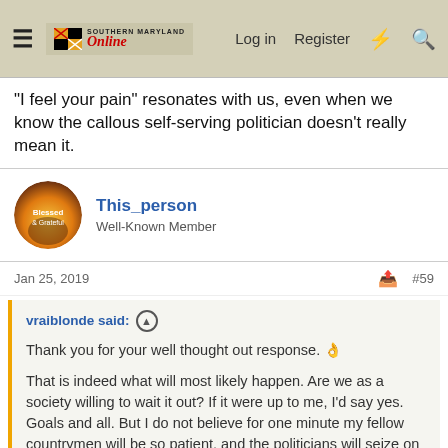Southern Maryland Online — Log in | Register
"I feel your pain" resonates with us, even when we know the callous self-serving politician doesn't really mean it.
This_person — Well-Known Member
Jan 25, 2019  #59
vraiblonde said: Thank you for your well thought out response. 👍 That is indeed what will most likely happen. Are we as a society willing to wait it out? If it were up to me, I'd say yes. Goals and all. But I do not believe for one minute my fellow countrymen will be so patient, and the politicians will seize on it to campaign and get elected and proceed with their destruction of America. Click to expand...